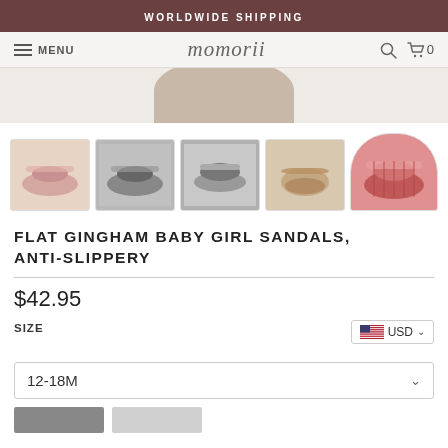WORLDWIDE SHIPPING
MENU  momorii  🔍  🛒 0
[Figure (photo): Main product image area showing top of sandal photo, partially cropped]
[Figure (photo): Five thumbnail images of Flat Gingham Baby Girl Sandals in various colors: pink, black/grey, black/grey alternate view, bottom view, red gingham]
FLAT GINGHAM BABY GIRL SANDALS, ANTI-SLIPPERY
$42.95
SIZE
USD
12-18M